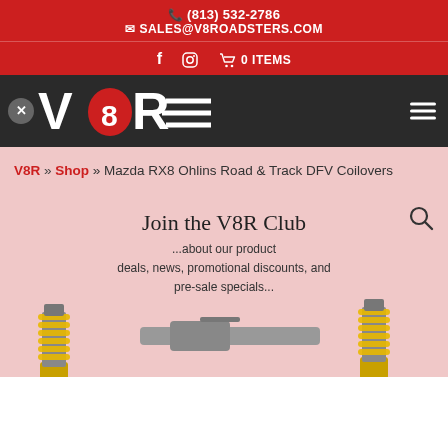(813) 532-2786
SALES@V8ROADSTERS.COM
f  ig  0 ITEMS
[Figure (logo): V8R Roadsters logo in red and white on dark background]
V8R » Shop » Mazda RX8 Ohlins Road & Track DFV Coilovers
Join the V8R Club
...about our product deals, news, promotional discounts, and pre-sale specials...
[Figure (photo): Ohlins coilover suspension components with yellow springs on pink/light red background]